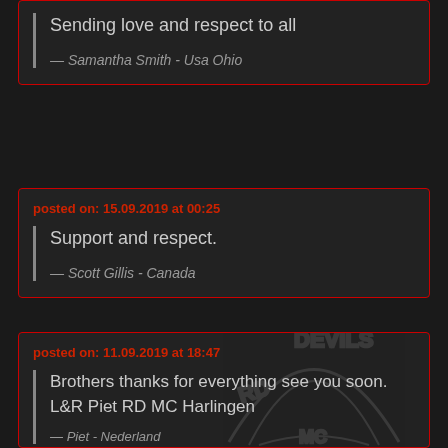Sending love and respect to all
— Samantha Smith - Usa Ohio
posted on: 15.09.2019 at 00:25
Support and respect.
— Scott Gillis - Canada
posted on: 11.09.2019 at 18:47
Brothers thanks for everything see you soon. L&R Piet RD MC Harlingen
— Piet - Nederland